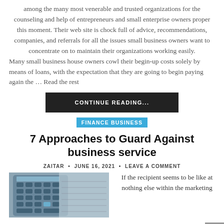among the many most venerable and trusted organizations for the counseling and help of entrepreneurs and small enterprise owners proper this moment. Their web site is chock full of advice, recommendations, companies, and referrals for all the issues small business owners want to concentrate on to maintain their organizations working easily. Many small business house owners cowl their begin-up costs solely by means of loans, with the expectation that they are going to begin paying again the … Read the rest
CONTINUE READING...
FINANCE BUSINESS
7 Approaches to Guard Against business service
ZAITAR • JUNE 16, 2021 • LEAVE A COMMENT
[Figure (photo): Close-up photo of a calculator keyboard with papers in background, in blue-grey tones]
If the recipient seems to be like at nothing else within the marketing